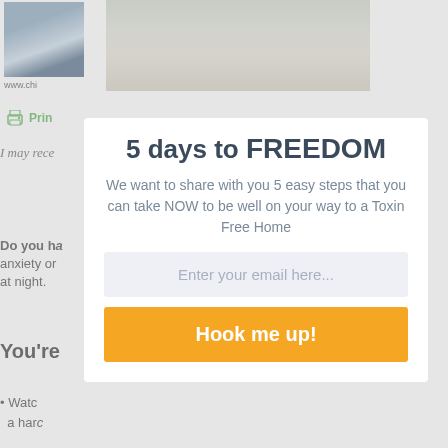[Figure (photo): Partial photo of a person on the left, and a kitchen counter/sink photo on the right]
www.chi
[Figure (other): Print button icon with green printer graphic]
Prin
I may rece
5 days to FREEDOM
We want to share with you 5 easy steps that you can take NOW to be well on your way to a Toxin Free Home
Do you ha anxiety o at night.
Enter your email here...
Hook me up!
You're
Watc a harc